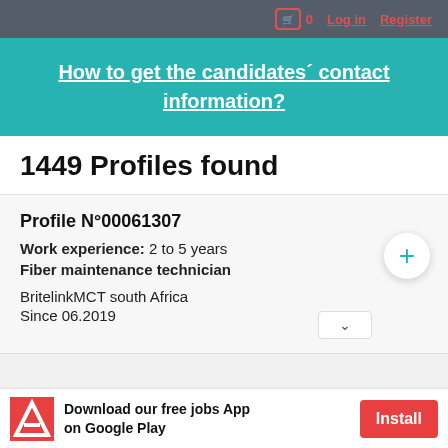0  Log in  Register
How to get the candidates´ contact information?
1449 Profiles found
Profile N°00061307
Work experience: 2 to 5 years
Fiber maintenance technician
BritelinkMCT south Africa
Since 06.2019
Download our free jobs App on Google Play